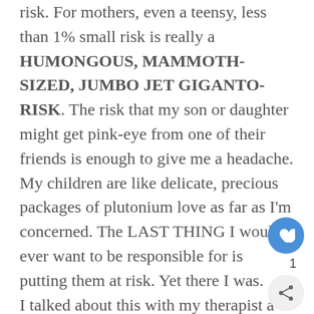risk. For mothers, even a teensy, less than 1% small risk is really a HUMONGOUS, MAMMOTH-SIZED, JUMBO JET GIGANTO-RISK. The risk that my son or daughter might get pink-eye from one of their friends is enough to give me a headache. My children are like delicate, precious packages of plutonium love as far as I'm concerned. The LAST THING I would ever want to be responsible for is putting them at risk. Yet there I was.

I talked about this with my therapist a lot. I cried about it. But she told me about how the flight attendants on planes warn you that, in case of cabin decompression or oxygen loss or however they put it, you should put the oxygen mask on yourself first before you put one on your child. If you're out of commission, you